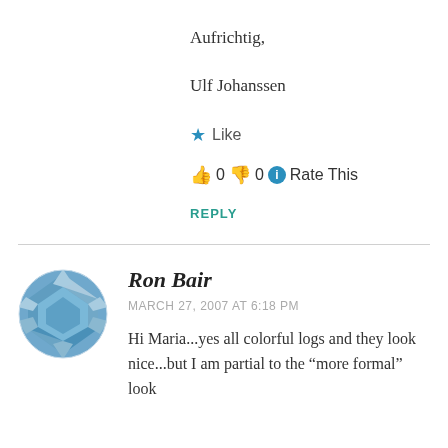Aufrichtig,
Ulf Johanssen
★ Like
👍 0 👎 0 ℹ Rate This
REPLY
Ron Bair
MARCH 27, 2007 AT 6:18 PM
Hi Maria...yes all colorful logs and they look nice...but I am partial to the "more formal" look